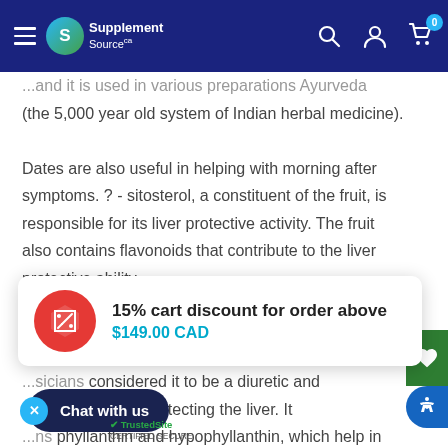Supplement Source — navigation header
...and it is used in various preparations Ayurveda (the 5,000 year old system of Indian herbal medicine). Dates are also useful in helping with morning after symptoms. ? - sitosterol, a constituent of the fruit, is responsible for its liver protective activity. The fruit also contains flavonoids that contribute to the liver protective ability.
[Figure (infographic): 15% cart discount banner: red circle with discount tag icon, bold text '15% cart discount for order above', cyan text '$149.00 CAD']
...sicians considered it to be a diuretic and ...d the extract in protecting the liver. It ...ns phyllanthin and hypophyllanthin, which help in